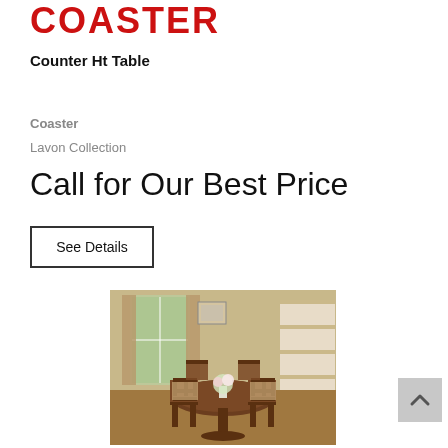COASTER
Counter Ht Table
Coaster
Lavon Collection
Call for Our Best Price
See Details
[Figure (photo): Round counter-height dining table with four chairs in a warmly lit room with shelving and window in background.]